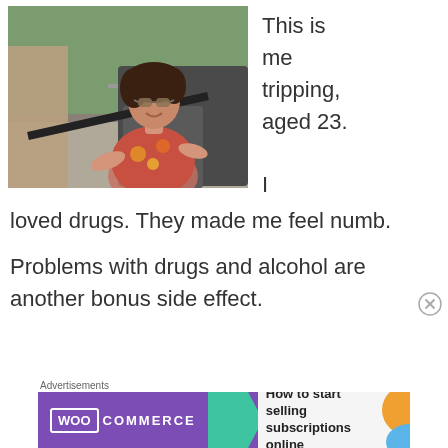[Figure (photo): A young woman wearing sunglasses and a colorful floral top, sitting in or near a vehicle, smiling, outdoors with trees and a road in background. Vintage photo style.]
This is me tripping, aged 23.
I loved drugs. They made me feel numb.
Problems with drugs and alcohol are another bonus side effect.
[Figure (screenshot): Advertisement banner: WooCommerce ad reading 'How to start selling subscriptions online']